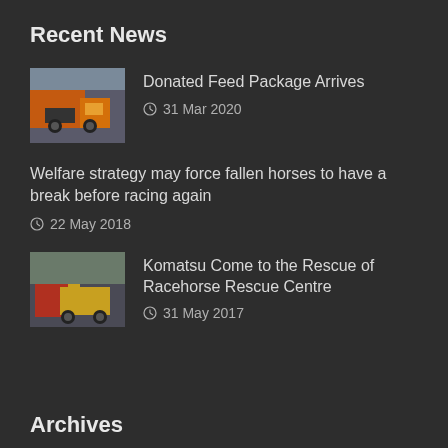Recent News
Donated Feed Package Arrives
31 Mar 2020
Welfare strategy may force fallen horses to have a break before racing again
22 May 2018
Komatsu Come to the Rescue of Racehorse Rescue Centre
31 May 2017
Archives